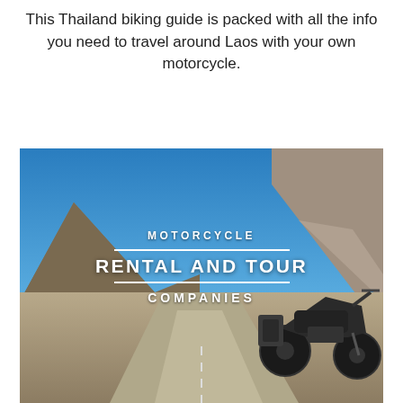This Thailand biking guide is packed with all the info you need to travel around Laos with your own motorcycle.
[Figure (photo): A motorcycle parked on a remote dusty road with arid mountains and blue sky in the background. Overlaid white text reads: MOTORCYCLE / RENTAL AND TOUR / COMPANIES]